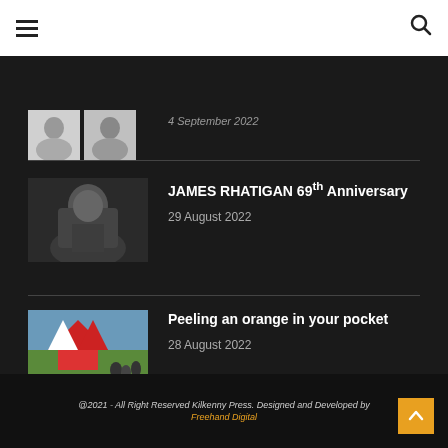Navigation bar with hamburger menu and search icon
[Figure (photo): Partially visible top article with two small portrait thumbnails]
4 September 2022
JAMES RHATIGAN 69th Anniversary
29 August 2022
[Figure (photo): Black and white portrait photograph of a man in a suit with a flower buttonhole]
Peeling an orange in your pocket
28 August 2022
[Figure (photo): Colour photograph of a fairground scene with rides and people on grass]
@2021 - All Right Reserved Kilkenny Press. Designed and Developed by Freehand Digital